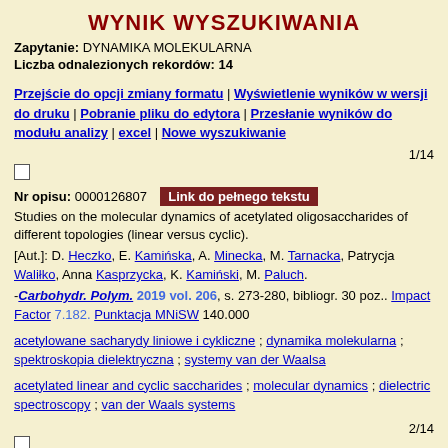WYNIK WYSZUKIWANIA
Zapytanie: DYNAMIKA MOLEKULARNA
Liczba odnalezionych rekordów: 14
Przejście do opcji zmiany formatu | Wyświetlenie wyników w wersji do druku | Pobranie pliku do edytora | Przesłanie wyników do modułu analizy | excel | Nowe wyszukiwanie
1/14
Nr opisu: 0000126807  Link do pełnego tekstu
Studies on the molecular dynamics of acetylated oligosaccharides of different topologies (linear versus cyclic).
[Aut.]: D. Heczko, E. Kamińska, A. Minecka, M. Tarnacka, Patrycja Waliłko, Anna Kasprzycka, K. Kamiński, M. Paluch.
-Carbohydr. Polym. 2019 vol. 206, s. 273-280, bibliogr. 30 poz.. Impact Factor 7.182. Punktacja MNiSW 140.000
acetylowane sacharydy liniowe i cykliczne ; dynamika molekularna ; spektroskopia dielektryczna ; systemy van der Waalsa
acetylated linear and cyclic saccharides ; molecular dynamics ; dielectric spectroscopy ; van der Waals systems
2/14
Nr opisu: 0000111949
Polymerization of monomeric ionic liquid confined within uniaxial alumina